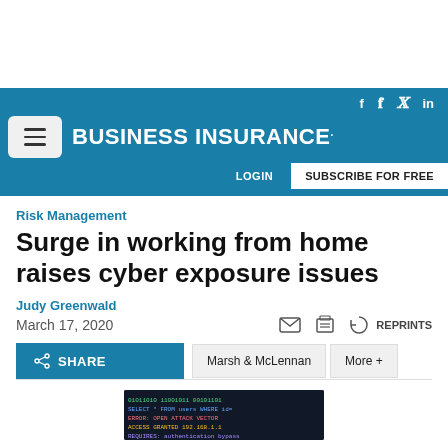BUSINESS INSURANCE
Risk Management
Surge in working from home raises cyber exposure issues
Judy Greenwald
March 17, 2020
[Figure (screenshot): Code/terminal screenshot showing dark background with colored text, partially visible at bottom of page]